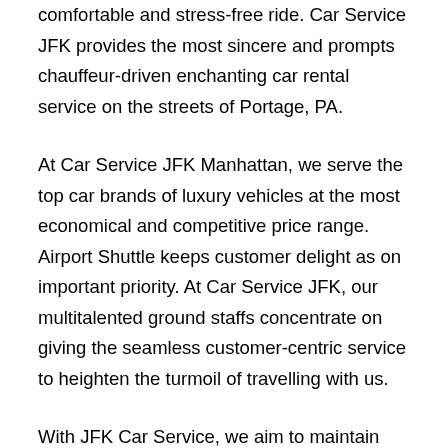comfortable and stress-free ride. Car Service JFK provides the most sincere and prompts chauffeur-driven enchanting car rental service on the streets of Portage, PA.
At Car Service JFK Manhattan, we serve the top car brands of luxury vehicles at the most economical and competitive price range. Airport Shuttle keeps customer delight as on important priority. At Car Service JFK, our multitalented ground staffs concentrate on giving the seamless customer-centric service to heighten the turmoil of travelling with us.
With JFK Car Service, we aim to maintain punctuality and timely car service as a primary